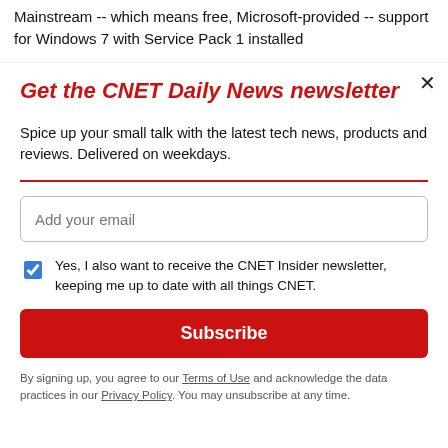Mainstream -- which means free, Microsoft-provided -- support for Windows 7 with Service Pack 1 installed
Get the CNET Daily News newsletter
Spice up your small talk with the latest tech news, products and reviews. Delivered on weekdays.
Add your email
Yes, I also want to receive the CNET Insider newsletter, keeping me up to date with all things CNET.
Subscribe
By signing up, you agree to our Terms of Use and acknowledge the data practices in our Privacy Policy. You may unsubscribe at any time.